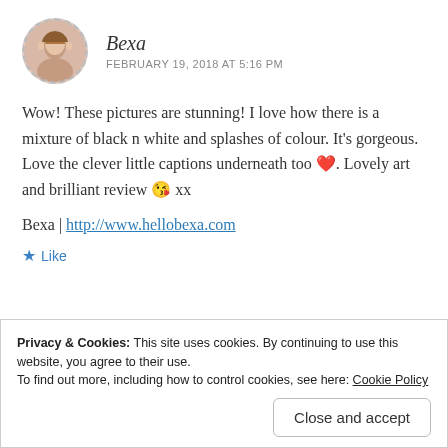[Figure (photo): Circular avatar photo of a woman with short hair, shown with a dashed circular border]
Bexa
FEBRUARY 19, 2018 AT 5:16 PM
Wow! These pictures are stunning! I love how there is a mixture of black n white and splashes of colour. It’s gorgeous. Love the clever little captions underneath too ❤️. Lovely art and brilliant review 😘 xx
Bexa | http://www.hellobexa.com
★ Like
Privacy & Cookies: This site uses cookies. By continuing to use this website, you agree to their use.
To find out more, including how to control cookies, see here: Cookie Policy
Close and accept